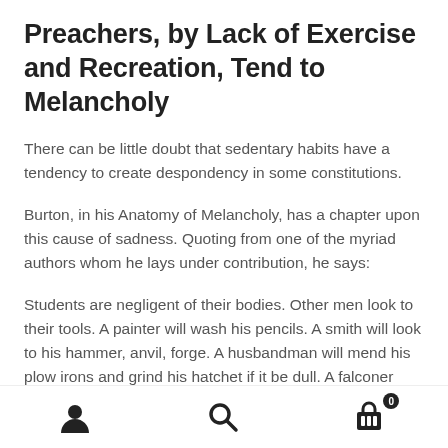Preachers, by Lack of Exercise and Recreation, Tend to Melancholy
There can be little doubt that sedentary habits have a tendency to create despondency in some constitutions.
Burton, in his Anatomy of Melancholy, has a chapter upon this cause of sadness. Quoting from one of the myriad authors whom he lays under contribution, he says:
Students are negligent of their bodies. Other men look to their tools. A painter will wash his pencils. A smith will look to his hammer, anvil, forge. A husbandman will mend his plow irons and grind his hatchet if it be dull. A falconer
Navigation bar with user, search, and cart (0) icons